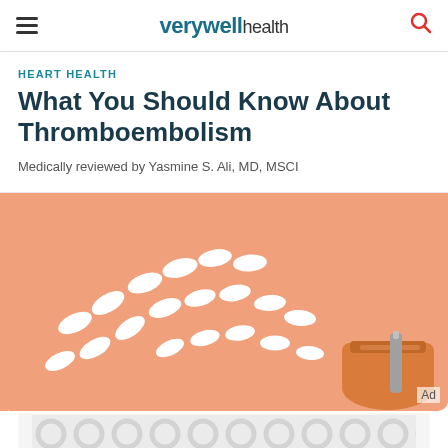verywell health
HEART HEALTH
What You Should Know About Thromboembolism
Medically reviewed by Yasmine S. Ali, MD, MSCI
[Figure (photo): White capsule pills spilled from an orange prescription bottle on a salmon/peach background]
Ad